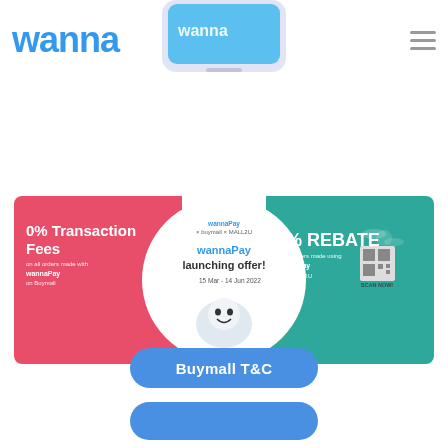[Figure (logo): wanna logo in blue, top left]
[Figure (illustration): Smartphone/phone app mockup showing wanna app interface, centered at top]
[Figure (infographic): WannaPay x BuyMall x MALL2U promotional banner. Left pink section: 0% Transaction Fees on all orders made with wannaPay on Buymall. Center white circle: wannaPay launching offer! 15 Mar - 14 Jun 2022, QR code, SCAN NOW!. Right teal section: 5% REBATE on all orders made using wannaPay on CMALL2U. Products shown: mask, smartwatch, drone, phone, earbuds.]
[Figure (other): Blue rounded rectangle button labeled Buymall T&C]
[Figure (other): Blue rounded rectangle button (partial, bottom of page)]